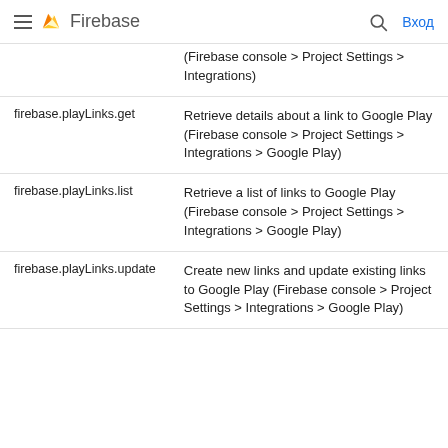Firebase
| Permission | Description |
| --- | --- |
|  | (Firebase console > Project Settings > Integrations) |
| firebase.playLinks.get | Retrieve details about a link to Google Play (Firebase console > Project Settings > Integrations > Google Play) |
| firebase.playLinks.list | Retrieve a list of links to Google Play (Firebase console > Project Settings > Integrations > Google Play) |
| firebase.playLinks.update | Create new links and update existing links to Google Play (Firebase console > Project Settings > Integrations > Google Play) |